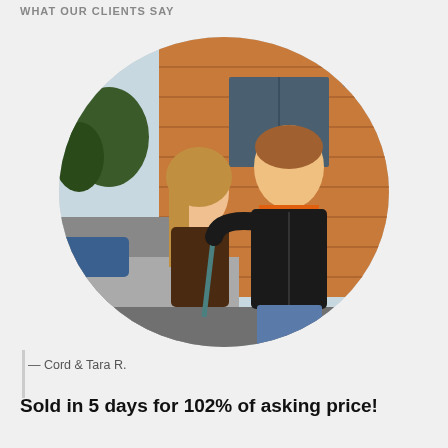WHAT OUR CLIENTS SAY
[Figure (photo): Oval-framed photo of a couple (woman with long hair in brown shirt and man in black hoodie over orange shirt) standing outside a building with wood siding]
— Cord & Tara R.
Sold in 5 days for 102% of asking price!